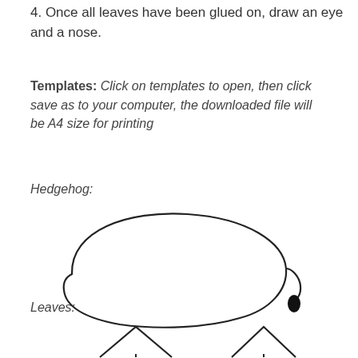4. Once all leaves have been glued on, draw an eye and a nose.
Templates: Click on templates to open, then click save as to your computer, the downloaded file will be A4 size for printing
Hedgehog:
[Figure (illustration): Simple line drawing of a hedgehog body outline: a large oval/egg shape with a snout-like protrusion on the right side and a small filled black oval for the nose/eye.]
Leaves:
[Figure (illustration): Simple line drawings of two leaf/triangle shapes at the bottom of the page.]